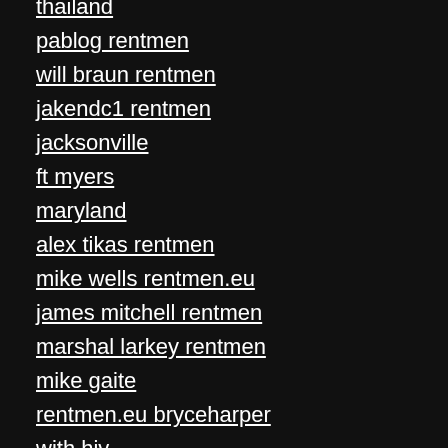thailand
pablog rentmen
will braun rentmen
jakendc1 rentmen
jacksonville
ft myers
maryland
alex tikas rentmen
mike wells rentmen.eu
james mitchell rentmen
marshal larkey rentmen
mike gaite
rentmen.eu bryceharper
with hiv
chris fadedd rentmen